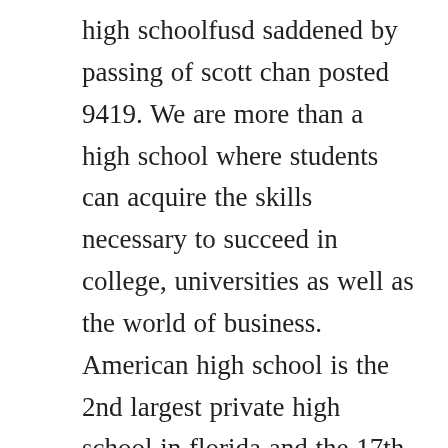high schoolfusd saddened by passing of scott chan posted 9419. We are more than a high school where students can acquire the skills necessary to succeed in college, universities as well as the world of business. American high school is the 2nd largest private high school in florida and the 17th largest nationally. American high school academys easytouse onlinehome based programs help. Please follow the procedures listed here to complete yours today. American high school is a company based in hollywood florida at